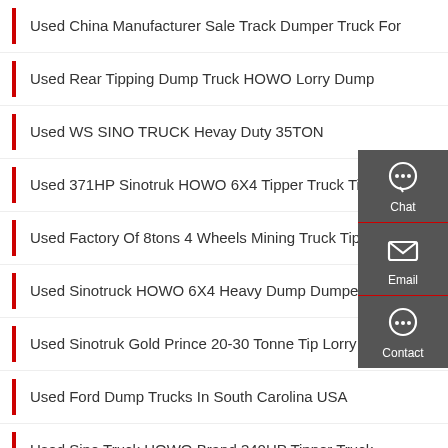Used China Manufacturer Sale Track Dumper Truck For
Used Rear Tipping Dump Truck HOWO Lorry Dump
Used WS SINO TRUCK Hevay Duty 35TON
Used 371HP Sinotruk HOWO 6X4 Tipper Truck Tipp…
Used Factory Of 8tons 4 Wheels Mining Truck Tippe…
Used Sinotruck HOWO 6X4 Heavy Dump Dumper Truck
Used Sinotruk Gold Prince 20-30 Tonne Tip Lorry Dump
Used Ford Dump Trucks In South Carolina USA
Used Sino Truck HOWO Brand 340HP Tipper Truck
[Figure (infographic): Sidebar widget with Chat, Email, and Contact icons on dark grey background]